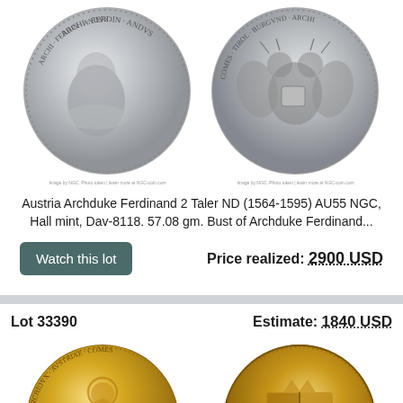[Figure (photo): Two sides of a silver coin — Austria Archduke Ferdinand 2 Taler. Left: obverse with bust of Archduke Ferdinand. Right: reverse with double-headed eagle and coat of arms.]
Austria Archduke Ferdinand 2 Taler ND (1564-1595) AU55 NGC, Hall mint, Dav-8118. 57.08 gm. Bust of Archduke Ferdinand...
Watch this lot
Price realized: 2900 USD
Lot 33390
Estimate: 1840 USD
[Figure (photo): Two sides of a gold coin. Left: obverse showing a standing figure (saint or ruler) with inscription around. Right: reverse showing a quartered coat of arms.]